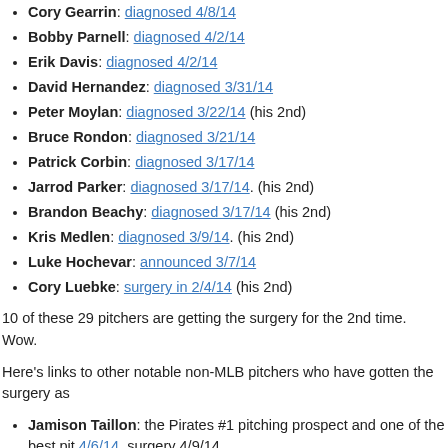Cory Gearrin: diagnosed 4/8/14
Bobby Parnell: diagnosed 4/2/14
Erik Davis: diagnosed 4/2/14
David Hernandez: diagnosed 3/31/14
Peter Moylan: diagnosed 3/22/14 (his 2nd)
Bruce Rondon: diagnosed 3/21/14
Patrick Corbin: diagnosed 3/17/14
Jarrod Parker: diagnosed 3/17/14. (his 2nd)
Brandon Beachy: diagnosed 3/17/14 (his 2nd)
Kris Medlen: diagnosed 3/9/14. (his 2nd)
Luke Hochevar: announced 3/7/14
Cory Luebke: surgery in 2/4/14 (his 2nd)
10 of these 29 pitchers are getting the surgery for the 2nd time.  Wow.
Here's links to other notable non-MLB pitchers who have gotten the surgery as
Jamison Taillon: the Pirates #1 pitching prospect and one of the best pit 4/6/14, surgery 4/9/14.
Danny Rosenbaum: Nats AAA starter and long-time farmhand. Surgery he's a MLFA this coming off-season, now facing a very uncertain future.
Miguel S... one of the best prospects in the minors, had the surgery of